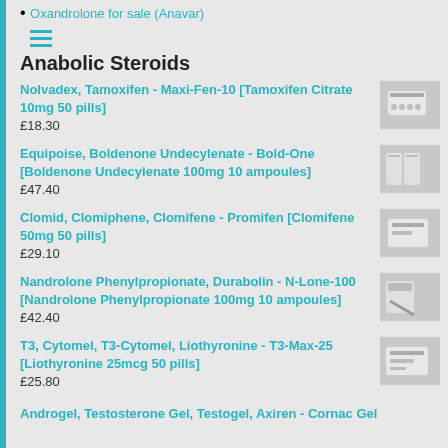Oxandrolone for sale (Anavar)
Anabolic Steroids
Nolvadex, Tamoxifen - Maxi-Fen-10 [Tamoxifen Citrate 10mg 50 pills]
£18.30
Equipoise, Boldenone Undecylenate - Bold-One [Boldenone Undecylenate 100mg 10 ampoules]
£47.40
Clomid, Clomiphene, Clomifene - Promifen [Clomifene 50mg 50 pills]
£29.10
Nandrolone Phenylpropionate, Durabolin - N-Lone-100 [Nandrolone Phenylpropionate 100mg 10 ampoules]
£42.40
T3, Cytomel, T3-Cytomel, Liothyronine - T3-Max-25 [Liothyronine 25mcg 50 pills]
£25.80
Androgel, Testosterone Gel, Testogel, Axiren - Cornac Gel